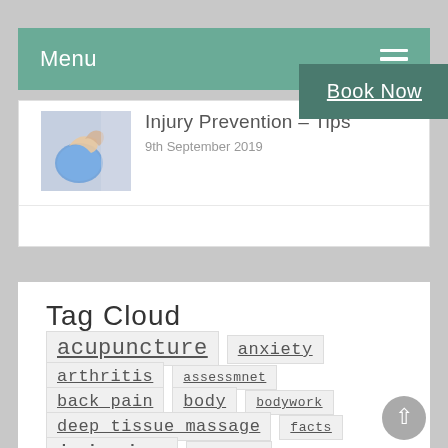Menu
[Figure (photo): Thumbnail photo of a person exercising with a blue exercise ball]
Injury Prevention – Tips
9th September 2019
Book Now
Tag Cloud
acupuncture
anxiety
arthritis
assessmnet
back pain
body
bodywork
deep tissue massage
facts
injuries
injury